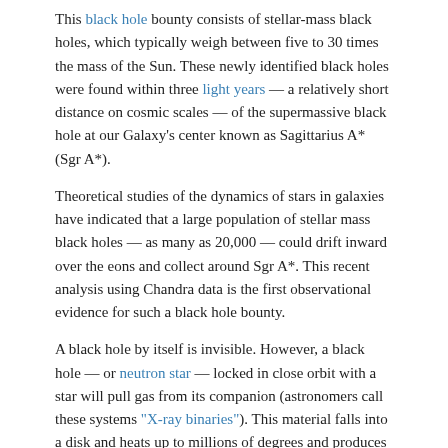This black hole bounty consists of stellar-mass black holes, which typically weigh between five to 30 times the mass of the Sun. These newly identified black holes were found within three light years — a relatively short distance on cosmic scales — of the supermassive black hole at our Galaxy's center known as Sagittarius A* (Sgr A*).
Theoretical studies of the dynamics of stars in galaxies have indicated that a large population of stellar mass black holes — as many as 20,000 — could drift inward over the eons and collect around Sgr A*. This recent analysis using Chandra data is the first observational evidence for such a black hole bounty.
A black hole by itself is invisible. However, a black hole — or neutron star — locked in close orbit with a star will pull gas from its companion (astronomers call these systems "X-ray binaries"). This material falls into a disk and heats up to millions of degrees and produces X-rays before disappearing into the black hole. Some of these X-ray binaries appear as point-like sources in the Chandra image.
Read more  Log in  to post comments
Stellar Family Portrait in X-rays